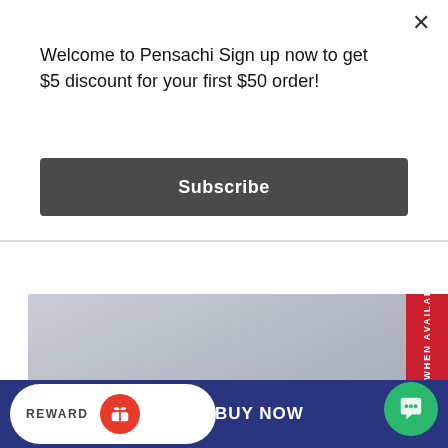Welcome to Pensachi Sign up now to get $5 discount for your first $50 order!
Subscribe
[Figure (photo): Close-up photo of fountain pen nibs on marble surface with PENSACHI.C logo watermark]
NOTIFY ME WHEN AVAILABLE
₩245,000  ₩279,000
12% off
REWARD
BUY NOW